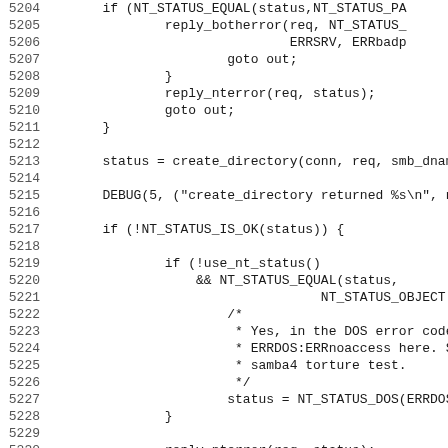[Figure (screenshot): Source code listing in monospace font showing C code lines 5204-5235 with red vertical bar on left margin. Code includes NT_STATUS checks, create_directory call, DEBUG statements, NT_STATUS_IS_OK check, comment block about DOS error codes, and reply functions.]